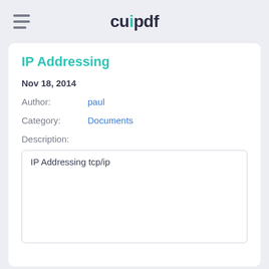cupdf
IP Addressing
Nov 18, 2014
Author: paul
Category: Documents
Description:
IP Addressing tcp/ip